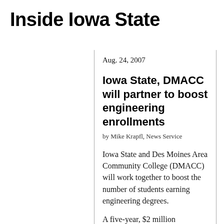Inside Iowa State
Aug. 24, 2007
Iowa State, DMACC will partner to boost engineering enrollments
by Mike Krapfl, News Service
Iowa State and Des Moines Area Community College (DMACC) will work together to boost the number of students earning engineering degrees.
A five-year, $2 million